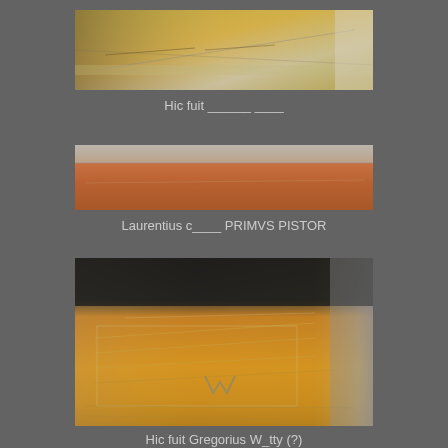[Figure (photo): Close-up photograph of ancient stone or fresco surface with inscribed text showing yellowed/golden patina with cracks]
Hic fuit ______ ____
[Figure (photo): Close-up photograph of ancient stone inscription showing reddish-brown surface with carved Latin text]
Laurentius c____ PRIMVS PISTOR
[Figure (photo): Photograph of ancient wall or stone surface with golden/yellow coloring showing graffiti and inscribed text]
Hic fuit Gregorius W_tty (?)